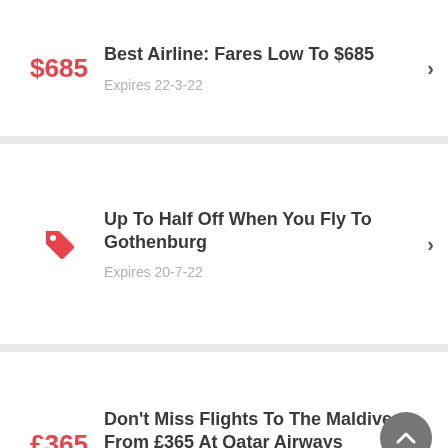$685 — Best Airline: Fares Low To $685 — Expires 22-3-22
Up To Half Off When You Fly To Gothenburg — Expires 20-7-22
£365 — Don't Miss Flights To The Maldives From £365 At Qatar Airways — Expires 20-7-22